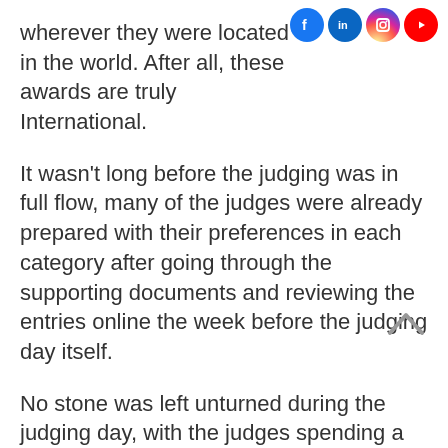wherever they were located in the world. After all, these awards are truly International.
It wasn't long before the judging was in full flow, many of the judges were already prepared with their preferences in each category after going through the supporting documents and reviewing the entries online the week before the judging day itself.
No stone was left unturned during the judging day, with the judges spending a considerable amount of time firstly rattling the long lists down to a top quality